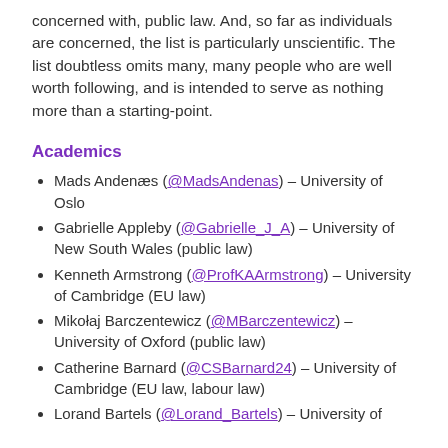concerned with, public law. And, so far as individuals are concerned, the list is particularly unscientific. The list doubtless omits many, many people who are well worth following, and is intended to serve as nothing more than a starting-point.
Academics
Mads Andenæs (@MadsAndenas) – University of Oslo
Gabrielle Appleby (@Gabrielle_J_A) – University of New South Wales (public law)
Kenneth Armstrong (@ProfKAArmstrong) – University of Cambridge (EU law)
Mikołaj Barczentewicz (@MBarczentewicz) – University of Oxford (public law)
Catherine Barnard (@CSBarnard24) – University of Cambridge (EU law, labour law)
Lorand Bartels (@Lorand_Bartels) – University of